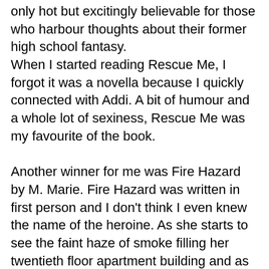only hot but excitingly believable for those who harbour thoughts about their former high school fantasy.
When I started reading Rescue Me, I forgot it was a novella because I quickly connected with Addi. A bit of humour and a whole lot of sexiness, Rescue Me was my favourite of the book.

Another winner for me was Fire Hazard by M. Marie. Fire Hazard was written in first person and I don't think I even knew the name of the heroine. As she starts to see the faint haze of smoke filling her twentieth floor apartment building and as the blare of alarms pierces her ears, she bravely tries to wrangle her frightened cat into his cat carrier. So far, totally believable. If you have ever tried to wrangle a scared clawed cat hurriedly into a cat carrier, you can imagine the damage he could cause to tender exposed flesh. Thankfully fireman "Jackson" was